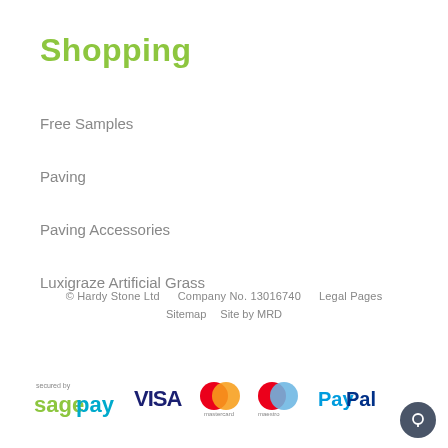Shopping
Free Samples
Paving
Paving Accessories
Luxigraze Artificial Grass
© Hardy Stone Ltd   Company No. 13016740   Legal Pages   Sitemap   Site by MRD
[Figure (logo): Payment method logos: Sage Pay (secured by), Visa, Mastercard, Maestro, PayPal]